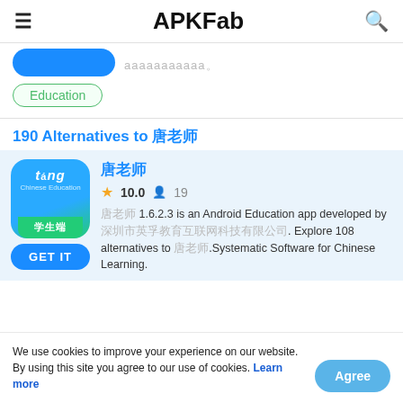APKFab
Education
190 Alternatives to 唐老师
[Figure (screenshot): App icon for 唐老师 - tán Chinese Education app, blue/green gradient with '学生端' label]
唐老师
10.0  19
唐老师 1.6.2.3 is an Android Education app developed by 深圳市英孚教育互联网科技有限公司. Explore 108 alternatives to 唐老师.Systematic Software for Chinese Learning.
We use cookies to improve your experience on our website. By using this site you agree to our use of cookies. Learn more